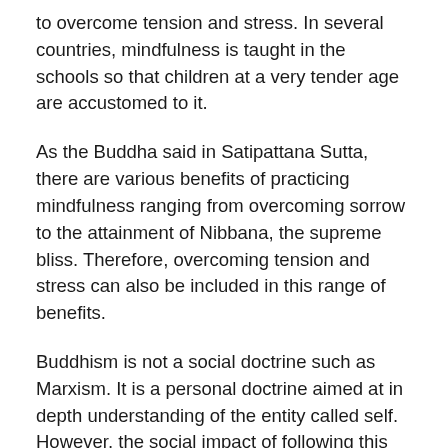to overcome tension and stress. In several countries, mindfulness is taught in the schools so that children at a very tender age are accustomed to it.
As the Buddha said in Satipattana Sutta, there are various benefits of practicing mindfulness ranging from overcoming sorrow to the attainment of Nibbana, the supreme bliss. Therefore, overcoming tension and stress can also be included in this range of benefits.
Buddhism is not a social doctrine such as Marxism. It is a personal doctrine aimed at in depth understanding of the entity called self. However, the social impact of following this personal doctrine would be immense.
Buddhism recommends everyone to do a noble investigation (ariya pariyesana) about oneself. What are we doing every day? We get various messages through our five senses and act by giving various interpretations to